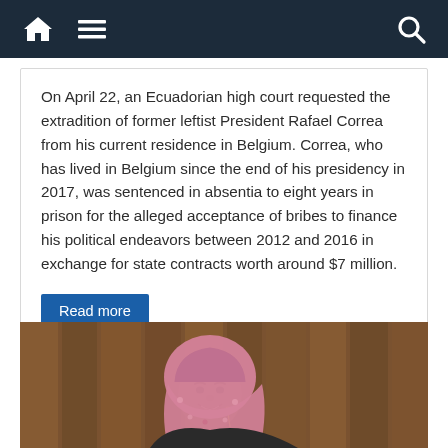Navigation bar with home, menu, and search icons
On April 22, an Ecuadorian high court requested the extradition of former leftist President Rafael Correa from his current residence in Belgium. Correa, who has lived in Belgium since the end of his presidency in 2017, was sentenced in absentia to eight years in prison for the alleged acceptance of bribes to finance his political endeavors between 2012 and 2016 in exchange for state contracts worth around $7 million.
Read more
[Figure (photo): A woman wearing a pink floral hijab and a microphone headset, smiling, photographed in front of a wooden background.]